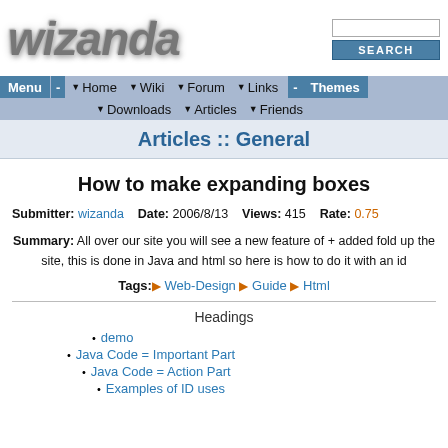wizanda
[Figure (logo): Wizanda logo with stylized metallic italic text]
Articles :: General
How to make expanding boxes
Submitter: wizanda  Date: 2006/8/13  Views: 415  Rate: 0.75
Summary: All over our site you will see a new feature of + added fold up the site, this is done in Java and html so here is how to do it with an id
Tags: Web-Design  Guide  Html
Headings
demo
Java Code = Important Part
Java Code = Action Part
Examples of ID uses